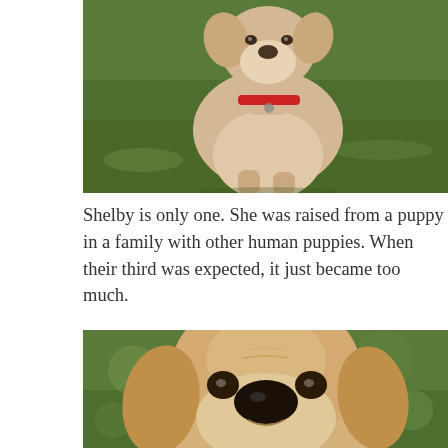[Figure (photo): A light-colored dog (yellow Labrador mix) wearing a red collar, standing on green grass, photographed from the front/above showing its chest and face tilted slightly.]
Shelby is only one. She was raised from a puppy in a family with other human puppies. When their third was expected, it just became too much.
[Figure (photo): Close-up face shot of a yellow Labrador Retriever dog looking directly at the camera, with floppy ears and a black nose, green blurred background.]